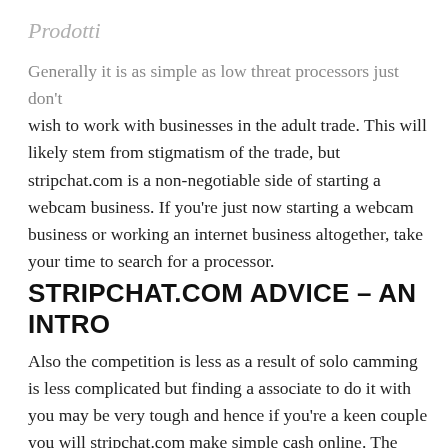Prodotti
Generally it is as simple as low threat processors just don't wish to work with businesses in the adult trade. This will likely stem from stigmatism of the trade, but stripchat.com is a non-negotiable side of starting a webcam business. If you're just now starting a webcam business or working an internet business altogether, take your time to search for a processor.
STRIPCHAT.COM ADVICE – AN INTRO
Also the competition is less as a result of solo camming is less complicated but finding a associate to do it with you may be very tough and hence if you're a keen couple you will stripchat.com make simple cash online. The really helpful